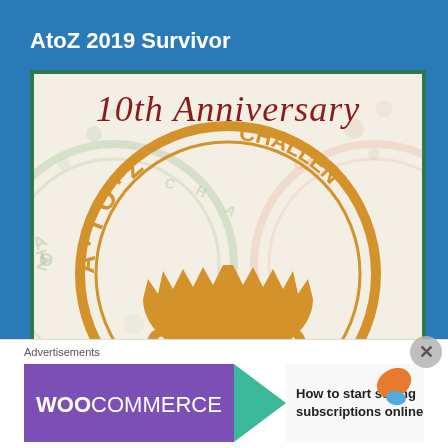AtoZ 2019 Survivor
[Figure (illustration): AtoZ Challenge 2019 10th Anniversary stamp logo with circular stamp design in orange/gold on a light background, with script 'A to Z Challenge' text and '2019' at the bottom.]
Advertisements
[Figure (logo): WooCommerce advertisement banner: purple background with WooCommerce logo, green arrow/play shape, and text 'How to start selling subscriptions online' with orange leaf and blue wave decorative elements.]